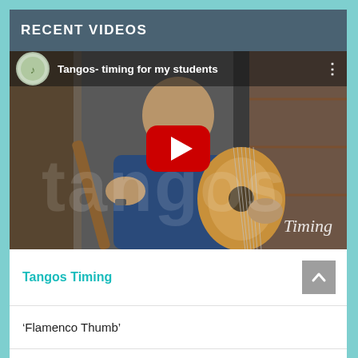RECENT VIDEOS
[Figure (screenshot): YouTube video thumbnail showing a man playing a classical/flamenco guitar. The video title reads 'Tangos- timing for my students'. A large red YouTube play button is centered on the image. The word 'Timing' appears in the bottom right corner. A circular guitar-logo icon appears top-left.]
Tangos Timing
‘Flamenco Thumb’
A learner classical guitar study piece by Ferdinando Carulli